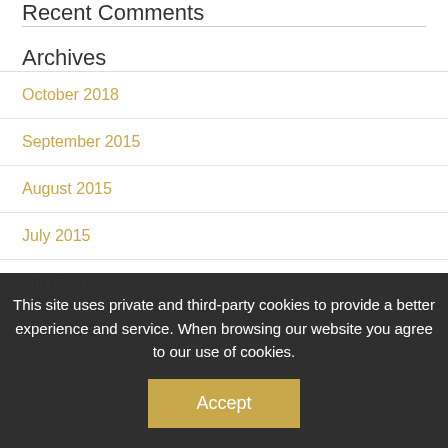Recent Comments
Archives
October 2018
September 2015
August 2015
July 2015
April 2015
March 2015
February 2015
January 2015
December 2014
June 2014
This site uses private and third-party cookies to provide a better experience and service. When browsing our website you agree to our use of cookies.
Accept